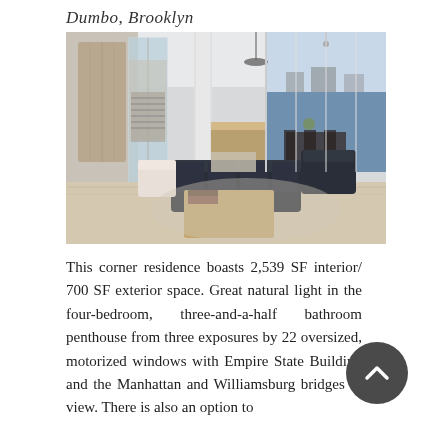Dumbo, Brooklyn
[Figure (photo): Interior photo of a modern luxury penthouse living room with large windows overlooking a waterfront, featuring a dark leather sectional sofa, wooden coffee table, dining area, and kitchen in background with natural light.]
This corner residence boasts 2,539 SF interior/ 700 SF exterior space. Great natural light in the four-bedroom, three-and-a-half bathroom penthouse from three exposures by 22 oversized, motorized windows with Empire State Building and the Manhattan and Williamsburg bridges in view. There is also an option to